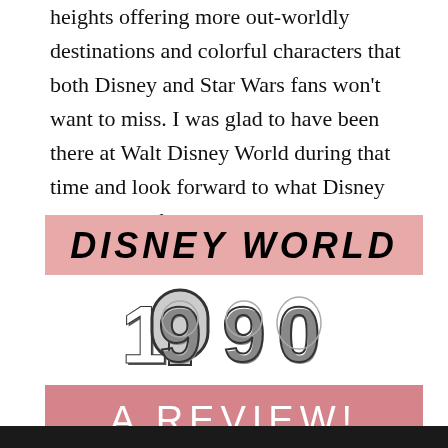heights offering more out-worldly destinations and colorful characters that both Disney and Star Wars fans won't want to miss. I was glad to have been there at Walt Disney World during that time and look forward to what Disney has in store for the next 50 years!
[Figure (infographic): Decorative graphic with pink banner reading 'DISNEY WORLD', large retro 3D styled '1990' year text, and a darker pink banner reading 'A REVIEW!' with a white brush stroke underline, followed by a black bar at the bottom edge.]